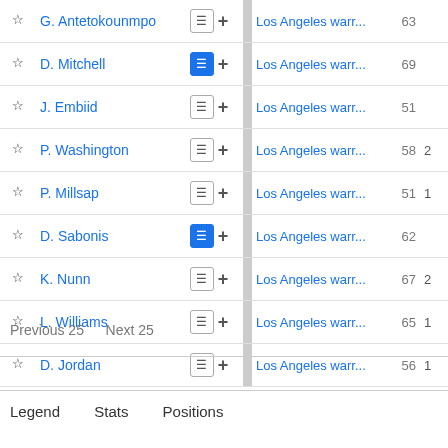|  | Player |  |  | Team | Num | Extra |
| --- | --- | --- | --- | --- | --- | --- |
| ☆ | G. Antetokounmpo | ☰ | + | Los Angeles warr... | 63 |  |
| ☆ | D. Mitchell | ☰ | + | Los Angeles warr... | 69 |  |
| ☆ | J. Embiid | ☰ | + | Los Angeles warr... | 51 |  |
| ☆ | P. Washington | ☰ | + | Los Angeles warr... | 58 | 2 |
| ☆ | P. Millsap | ☰ | + | Los Angeles warr... | 51 | 1 |
| ☆ | D. Sabonis | ☰ | + | Los Angeles warr... | 62 |  |
| ☆ | K. Nunn | ☰ | + | Los Angeles warr... | 67 | 2 |
| ☆ | L. Williams | ☰ | + | Los Angeles warr... | 65 | 1 |
| ☆ | D. Jordan | ☰ | + | Los Angeles warr... | 56 | 1 |
Previous 25    Next 25
Legend    Stats    Positions